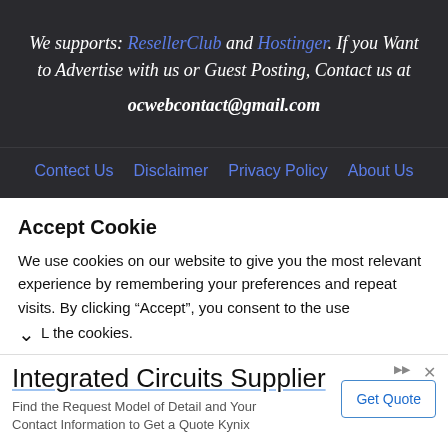We supports: ResellerClub and Hostinger. If you Want to Advertise with us or Guest Posting, Contact us at ocwebcontact@gmail.com
Contect Us   Disclaimer   Privacy Policy   About Us
Accept Cookie
We use cookies on our website to give you the most relevant experience by remembering your preferences and repeat visits. By clicking “Accept”, you consent to the use of ALL the cookies.
[Figure (other): Advertisement banner for Integrated Circuits Supplier with Get Quote button]